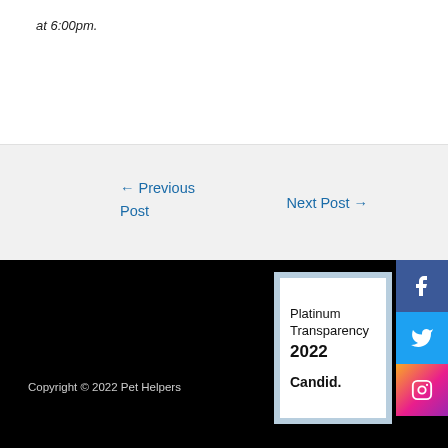at 6:00pm.
← Previous Post
Next Post →
Copyright © 2022 Pet Helpers
[Figure (other): Platinum Transparency 2022 Candid. badge with blue border]
[Figure (other): Facebook, Twitter, Instagram social media icons and scroll-to-top button]